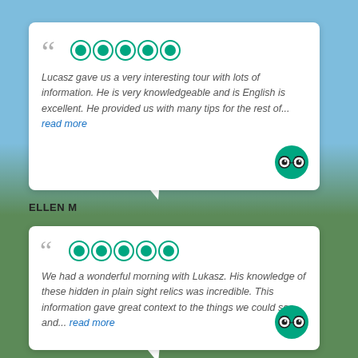Lucasz gave us a very interesting tour with lots of information. He is very knowledgeable and is English is excellent. He provided us with many tips for the rest of... read more
ELLEN M
We had a wonderful morning with Lukasz. His knowledge of these hidden in plain sight relics was incredible. This information gave great context to the things we could see and... read more